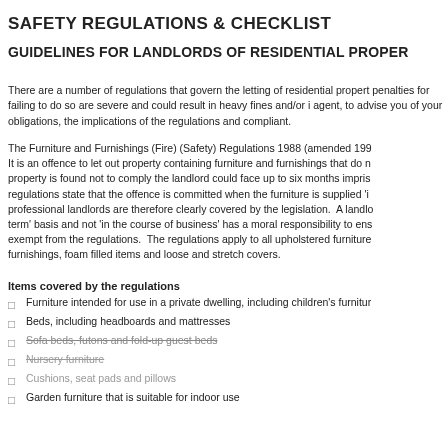SAFETY REGULATIONS & CHECKLIST
GUIDELINES FOR LANDLORDS OF RESIDENTIAL PROPER
There are a number of regulations that govern the letting of residential propert penalties for failing to do so are severe and could result in heavy fines and/or i agent, to advise you of your obligations, the implications of the regulations and compliant.
The Furniture and Furnishings (Fire) (Safety) Regulations 1988 (amended 199 It is an offence to let out property containing furniture and furnishings that do n property is found not to comply the landlord could face up to six months impris regulations state that the offence is committed when the furniture is supplied 'i professional landlords are therefore clearly covered by the legislation. A landlo term' basis and not 'in the course of business' has a moral responsibility to ens exempt from the regulations. The regulations apply to all upholstered furniture furnishings, foam filled items and loose and stretch covers.
Items covered by the regulations
Furniture intended for use in a private dwelling, including children's furnitur
Beds, including headboards and mattresses
Sofa beds, futons and fold-up guest beds
Nursery furniture
Cushions, seat pads and pillows
Garden furniture that is suitable for indoor use